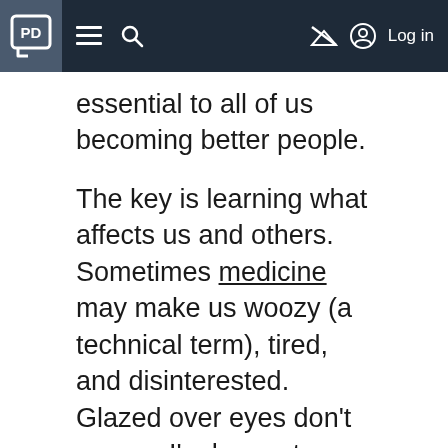PD [logo] ≡ 🔍 [mute icon] [user icon] Log in
essential to all of us becoming better people.
The key is learning what affects us and others. Sometimes medicine may make us woozy (a technical term), tired, and disinterested. Glazed over eyes don't convey I'm happy to see you, especially with our Parkinson's monotone voices.
Here, we need the listener to understand us on a literal basis or catch our nonverbal cues since we might not appear to mean what we say.